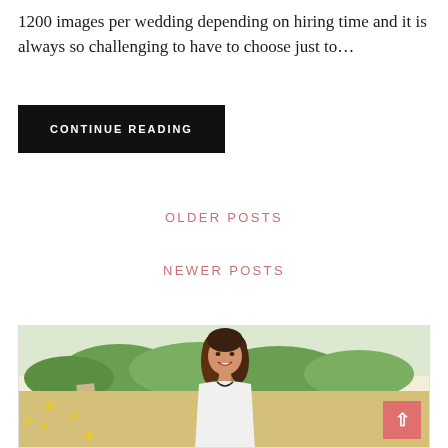1200 images per wedding depending on hiring time and it is always so challenging to have to choose just to…
CONTINUE READING
OLDER POSTS
NEWER POSTS
[Figure (photo): A young woman with long hair smiling in an outdoor field setting with yellow wildflowers and green trees in the background. There is a back-to-top button (pink/salmon color with an upward arrow) in the lower right corner of the image container.]